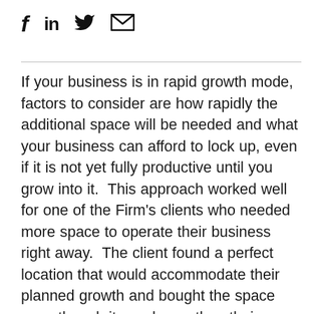f  in  🐦  ✉
If your business is in rapid growth mode, factors to consider are how rapidly the additional space will be needed and what your business can afford to lock up, even if it is not yet fully productive until you grow into it.  This approach worked well for one of the Firm's clients who needed more space to operate their business right away.  The client found a perfect location that would accommodate their planned growth and bought the space even though it was larger than their current operating needs required.  The excess space was leasable and attractive to potential tenants which allowed the client the ability